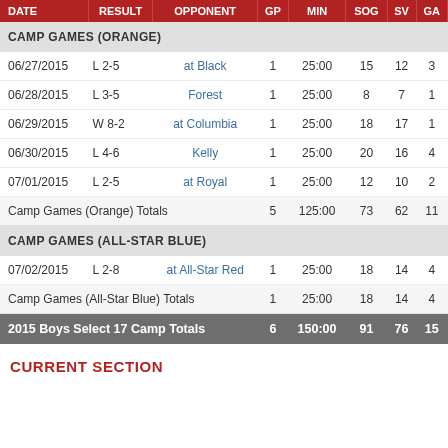| DATE | RESULT | OPPONENT | GP | MIN | SOG | SV | GA |
| --- | --- | --- | --- | --- | --- | --- | --- |
| CAMP GAMES (ORANGE) |  |  |  |  |  |  |  |
| 06/27/2015 | L 2-5 | at Black | 1 | 25:00 | 15 | 12 | 3 |
| 06/28/2015 | L 3-5 | Forest | 1 | 25:00 | 8 | 7 | 1 |
| 06/29/2015 | W 8-2 | at Columbia | 1 | 25:00 | 18 | 17 | 1 |
| 06/30/2015 | L 4-6 | Kelly | 1 | 25:00 | 20 | 16 | 4 |
| 07/01/2015 | L 2-5 | at Royal | 1 | 25:00 | 12 | 10 | 2 |
| Camp Games (Orange) Totals |  |  | 5 | 125:00 | 73 | 62 | 11 |
| CAMP GAMES (ALL-STAR BLUE) |  |  |  |  |  |  |  |
| 07/02/2015 | L 2-8 | at All-Star Red | 1 | 25:00 | 18 | 14 | 4 |
| Camp Games (All-Star Blue) Totals |  |  | 1 | 25:00 | 18 | 14 | 4 |
| 2015 Boys Select 17 Camp Totals |  |  | 6 | 150:00 | 91 | 76 | 15 |
CURRENT SECTION